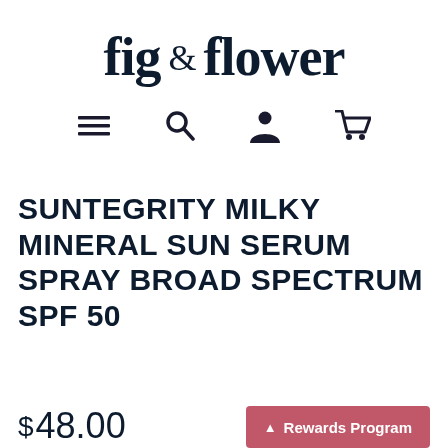fig & flower
[Figure (screenshot): Navigation icons: hamburger menu, search, user account, shopping cart]
SUNTEGRITY MILKY MINERAL SUN SERUM SPRAY BROAD SPECTRUM SPF 50
$ 48.00
Rewards Program